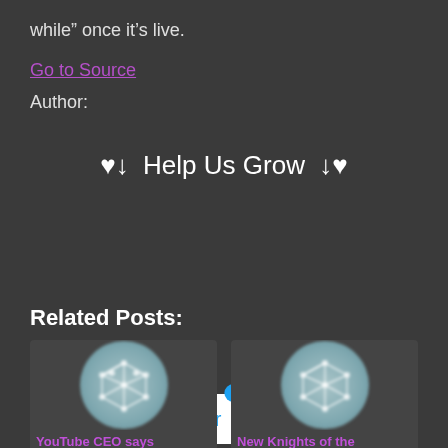while” once it’s live.
Go to Source
Author:
♥↓  Help Us Grow  ↓♥
[Figure (screenshot): Twitter share button widget showing 0 badge count and 0 Shares]
Related Posts:
[Figure (illustration): Circular network graph icon for YouTube CEO says post thumbnail]
YouTube CEO says
[Figure (illustration): Circular network graph icon for New Knights of the post thumbnail]
New Knights of the